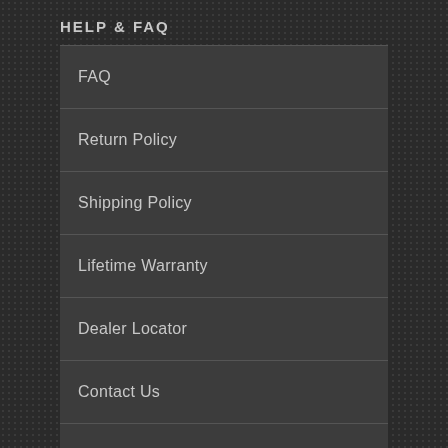HELP & FAQ
FAQ
Return Policy
Shipping Policy
Lifetime Warranty
Dealer Locator
Contact Us
Privacy Policy
Terms of Use
ACCOUNT